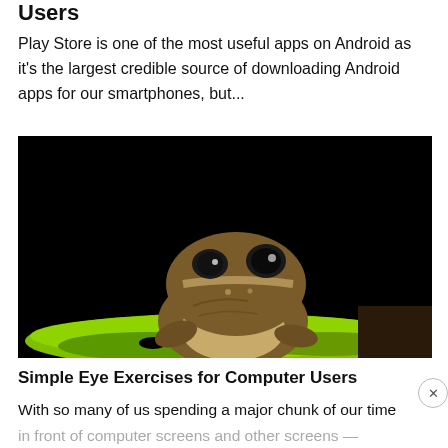Users
Play Store is one of the most useful apps on Android as it's the largest credible source of downloading Android apps for our smartphones, but...
[Figure (photo): Close-up photograph of a brown tree frog sitting on a bright green leaf against a black background.]
Simple Eye Exercises for Computer Users
With so many of us spending a major chunk of our time in front of computer screens and other screens — tablet, cell phones, laptops...